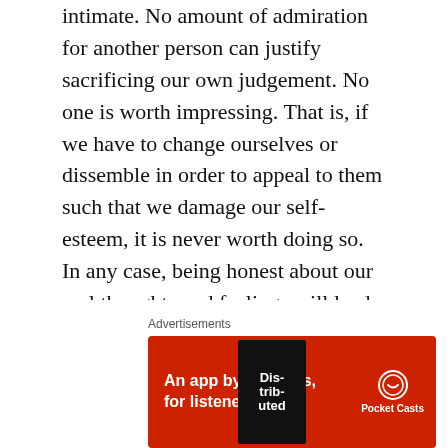intimate. No amount of admiration for another person can justify sacrificing our own judgement. No one is worth impressing. That is, if we have to change ourselves or dissemble in order to appeal to them such that we damage our self-esteem, it is never worth doing so. In any case, being honest about our real thoughts and feelings will lead to more intimacy whereas a façade will lead to a superficial relationship. Therefore, there is no time at which pretending to be someone other, holding different beliefs and feelings than we really do, can be justified.
Courage
[Figure (other): Advertisement banner: Pocket Casts app ad with text 'An app by listeners, for listeners.' on a red background with a podcast app book image and Pocket Casts logo.]